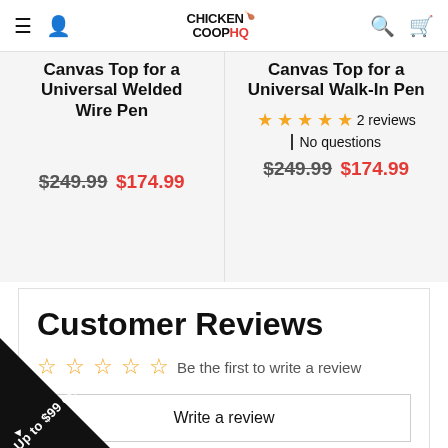Chicken Coop HQ — navigation bar with menu, user, search, cart icons and logo
Canvas Top for a Universal Welded Wire Pen — $249.99 $174.99
Canvas Top for a Universal Walk-In Pen — 2 reviews — No questions — $249.99 $174.99
Customer Reviews
Be the first to write a review
Write a review
Ask a question
Up to $99 off